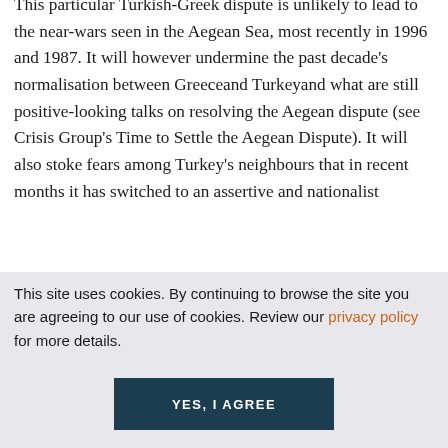This particular Turkish-Greek dispute is unlikely to lead to the near-wars seen in the Aegean Sea, most recently in 1996 and 1987. It will however undermine the past decade's normalisation between Greeceand Turkeyand what are still positive-looking talks on resolving the Aegean dispute (see Crisis Group's Time to Settle the Aegean Dispute). It will also stoke fears among Turkey's neighbours that in recent months it has switched to an assertive and nationalist
This site uses cookies. By continuing to browse the site you are agreeing to our use of cookies. Review our privacy policy for more details.
YES, I AGREE